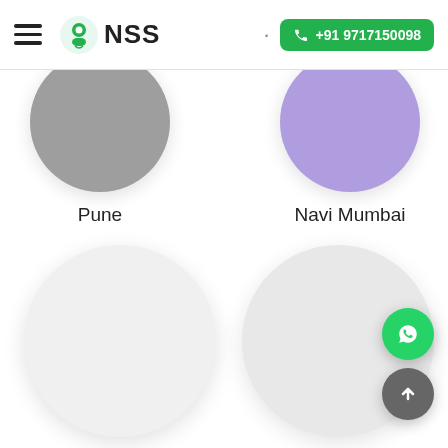NSS | +91 9717150098
[Figure (illustration): Partial circle card for city Pune, gray circle cropped at top]
Pune
[Figure (illustration): Partial circle card for city Navi Mumbai, purple circle cropped at top]
Navi Mumbai
[Figure (illustration): Circle card for city Jaipur, light gray circle]
Jaipur
[Figure (illustration): Circle card for city Kota, light gray circle]
Kota